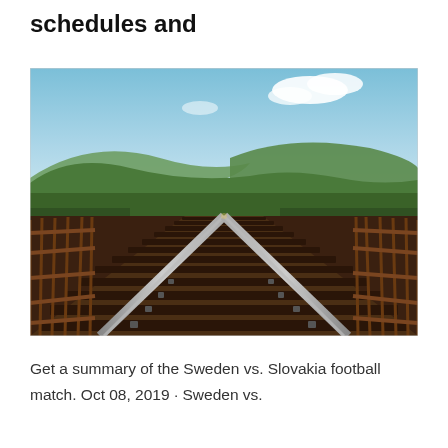schedules and
[Figure (photo): A railway track on a bridge stretching into the distance, surrounded by green hills and trees under a partly cloudy blue sky. The photo is taken from ground level on the tracks looking forward into the vanishing point.]
Get a summary of the Sweden vs. Slovakia football match. Oct 08, 2019 · Sweden vs.